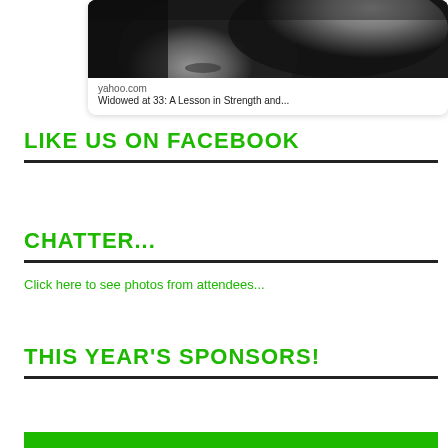[Figure (photo): Black and white close-up photo of a person's face with wind-blown blonde hair, partially cropped. Below the image is a card showing 'yahoo.com' and 'Widowed at 33: A Lesson in Strength and...']
LIKE US ON FACEBOOK
CHATTER...
Click here to see photos from attendees...
THIS YEAR'S SPONSORS!